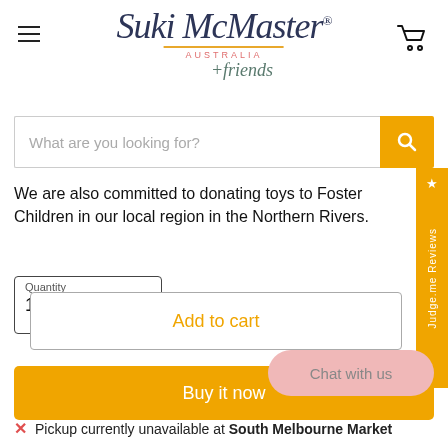[Figure (logo): Suki McMaster Australia + friends logo]
What are you looking for?
We are also committed to donating toys to Foster Children in our local region in the Northern Rivers.
Quantity
1
Add to cart
Buy it now
Chat with us
Pickup currently unavailable at South Melbourne Market